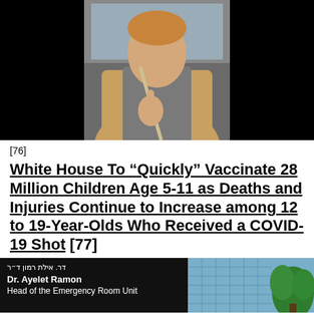[Figure (photo): A man sitting in a car wearing a tan/brown jacket, making a gesture with his hand. The photo has a black background on both sides.]
[76]
White House To “Quickly” Vaccinate 28 Million Children Age 5-11 as Deaths and Injuries Continue to Increase among 12 to 19-Year-Olds Who Received a COVID-19 Shot [77]
[Figure (screenshot): Screenshot showing a news caption overlay: Hebrew text at top, then 'Dr. Ayelet Ramon / Head of the Emergency Room Unit'. Right side shows a blue tiled wall with a green plant.]